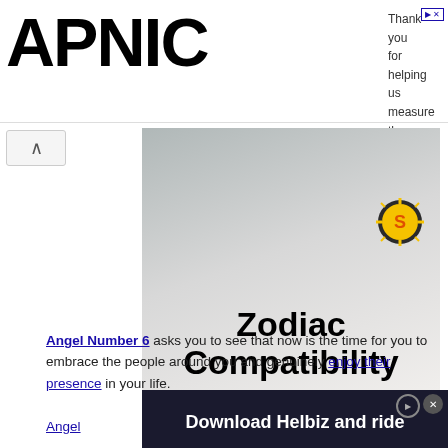[Figure (logo): APNIC logo in large bold black text]
Thank you for helping us measure the Internet.
[Figure (illustration): Zodiac Compatibility advertisement showing a couple in wedding attire with a sun zodiac icon and a red 'Visit Now' button]
ADVERTISEMENT
Angel Number 6 asks you to see that now is the time for you to embrace the people around you and genuinely enjoy their presence in your life.
[Figure (screenshot): Download Helbiz and ride advertisement banner overlay at bottom]